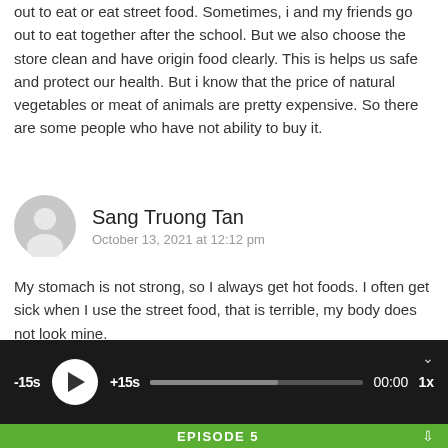out to eat or eat street food. Sometimes, i and my friends go out to eat together after the school. But we also choose the store clean and have origin food clearly. This is helps us safe and protect our health. But i know that the price of natural vegetables or meat of animals are pretty expensive. So there are some people who have not ability to buy it.
Sang Truong Tan
October 13, 2021 at 12:12 pm
My stomach is not strong, so I always get hot foods. I often get sick when I use the street food, that is terrible, my body does not look mine.
[Figure (other): Audio player bar with -15s, play button, +15s, progress bar, 00:00, 1x speed controls on dark background]
EPISODE 5